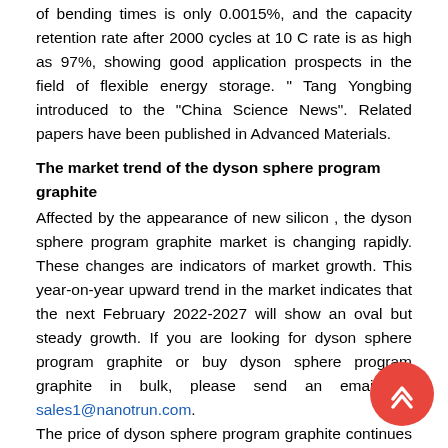of bending times is only 0.0015%, and the capacity retention rate after 2000 cycles at 10 C rate is as high as 97%, showing good application prospects in the field of flexible energy storage. " Tang Yongbing introduced to the "China Science News". Related papers have been published in Advanced Materials.
The market trend of the dyson sphere program graphite
Affected by the appearance of new silicon , the dyson sphere program graphite market is changing rapidly. These changes are indicators of market growth. This year-on-year upward trend in the market indicates that the next February 2022-2027 will show an oval but steady growth. If you are looking for dyson sphere program graphite or buy dyson sphere program graphite in bulk, please send an email to: sales1@nanotrun.com.
The price of dyson sphere program graphite continues affected by factors such as market growth momentum, opportunities and challenges. However, during the forecast period from 2022 to 2027, the global dyson sphere program graphite sales